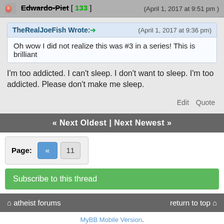Edwardo-Piet [ 133 ] (April 1, 2017 at 9:51 pm)
TheRealJoeFish Wrote:→ (April 1, 2017 at 9:36 pm)
Oh wow I did not realize this was #3 in a series! This is brilliant
I'm too addicted. I can't sleep. I don't want to sleep. I'm too addicted. Please don't make me sleep.
Edit   Quote
« Next Oldest | Next Newest »
Page:  «  11
Subscribe to this thread
atheist forums   return to top
MyBB Mobile Version.
Switch to Full Version
The views expressed on this website are those of the members who express them and do not necessarily represent the views of Atheist Forums, its owners, or staff.